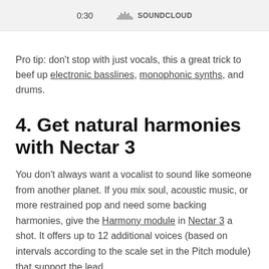[Figure (screenshot): SoundCloud audio player bar showing time 0:30 and SoundCloud logo with waveform icon]
Pro tip: don't stop with just vocals, this a great trick to beef up electronic basslines, monophonic synths, and drums.
4. Get natural harmonies with Nectar 3
You don't always want a vocalist to sound like someone from another planet. If you mix soul, acoustic music, or more restrained pop and need some backing harmonies, give the Harmony module in Nectar 3 a shot. It offers up to 12 additional voices (based on intervals according to the scale set in the Pitch module) that support the lead